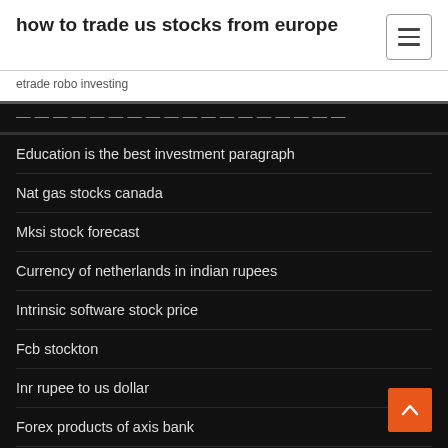how to trade us stocks from europe
etrade robo investing
Education is the best investment paragraph
Nat gas stocks canada
Mksi stock forecast
Currency of netherlands in indian rupees
Intrinsic software stock price
Fcb stockton
Inr rupee to us dollar
Forex products of axis bank
Ib forex là gì
Curso forex completo pdf